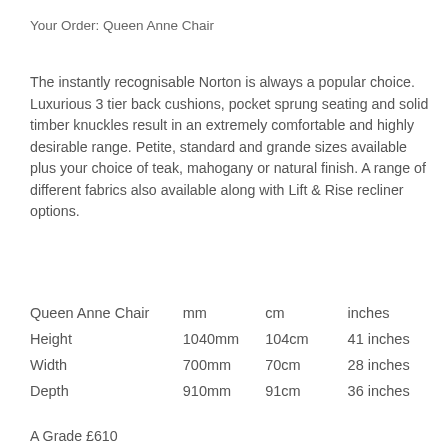Your Order: Queen Anne Chair
The instantly recognisable Norton is always a popular choice. Luxurious 3 tier back cushions, pocket sprung seating and solid timber knuckles result in an extremely comfortable and highly desirable range. Petite, standard and grande sizes available plus your choice of teak, mahogany or natural finish. A range of different fabrics also available along with Lift & Rise recliner options.
| Queen Anne Chair | mm | cm | inches |
| --- | --- | --- | --- |
| Height | 1040mm | 104cm | 41 inches |
| Width | 700mm | 70cm | 28 inches |
| Depth | 910mm | 91cm | 36 inches |
A Grade £610